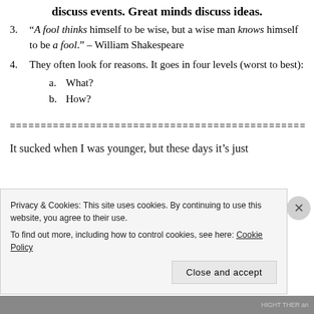discuss events. Great minds discuss ideas.
3. “A fool thinks himself to be wise, but a wise man knows himself to be a fool.” – William Shakespeare
4. They often look for reasons. It goes in four levels (worst to best):
a. What?
b. How?
================================================
It sucked when I was younger, but these days it’s just
Privacy & Cookies: This site uses cookies. By continuing to use this website, you agree to their use. To find out more, including how to control cookies, see here: Cookie Policy
Close and accept